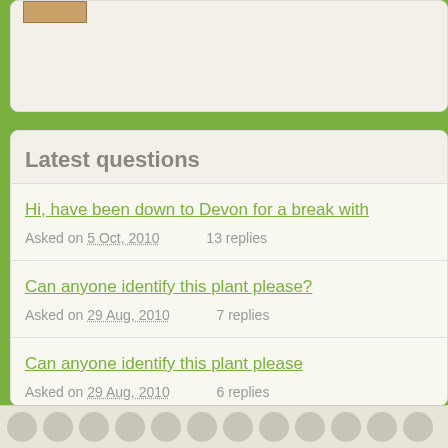Latest questions
Hi, have been down to Devon for a break with
Asked on 5 Oct, 2010    13 replies
Can anyone identify this plant please?
Asked on 29 Aug, 2010    7 replies
Can anyone identify this plant please
Asked on 29 Aug, 2010    6 replies